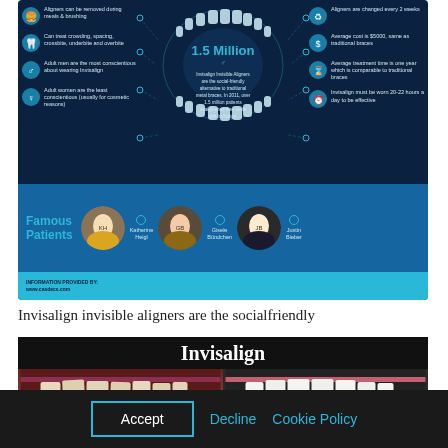[Figure (infographic): Invisalign infographic showing 1.5 Million patients, left side facts about aligners (removable, treats crowding/spacing/crossbite/underbite/overbite, adult men most conscientious, adult women least conscientious), right side facts (changed every 2 weeks, average cost same as traditional braces, average treatment time one year, must be worn 20-22 hours/day). Bottom section shows Famous Patients: Katherine Heigl, Gisele Bündchen, Justin Bieber.]
Invisalign invisible aligners are the socialfriendly
[Figure (photo): Black background with Invisalign title in white text, showing two dental photos - before (crowded teeth) and after (straight teeth with Invisalign).]
Accept
Decline
Cookie Policy